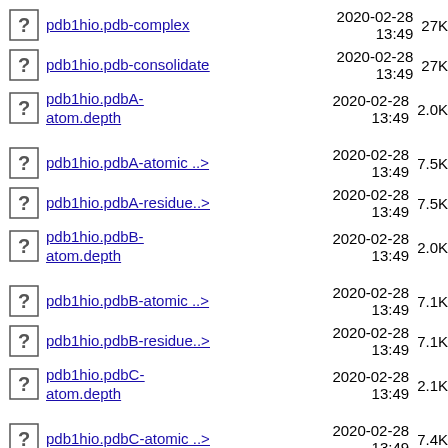pdb1hio.pdb-complex  2020-02-28 13:49  27K
pdb1hio.pdb-consolidate  2020-02-28 13:49  27K
pdb1hio.pdbA-atom.depth  2020-02-28 13:49  2.0K
pdb1hio.pdbA-atomic ..>  2020-02-28 13:49  7.5K
pdb1hio.pdbA-residue..>  2020-02-28 13:49  7.5K
pdb1hio.pdbB-atom.depth  2020-02-28 13:49  2.0K
pdb1hio.pdbB-atomic ..>  2020-02-28 13:49  7.1K
pdb1hio.pdbB-residue..>  2020-02-28 13:49  7.1K
pdb1hio.pdbC-atom.depth  2020-02-28 13:49  2.1K
pdb1hio.pdbC-atomic ..>  2020-02-28 13:49  7.4K
pdb1hio.pdbC-residue..>  2020-02-28 13:49  7.4K